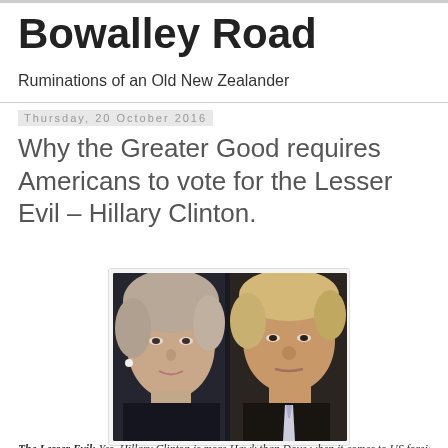Bowalley Road
Ruminations of an Old New Zealander
Thursday, 20 October 2016
Why the Greater Good requires Americans to vote for the Lesser Evil – Hillary Clinton.
[Figure (photo): Side-by-side portrait photo of Hillary Clinton (left) and Donald Trump (right) against a dark background.]
The Lesser Evil: Yes, Hillary Clinton is more Hawk than Dove when it comes to US foreign and